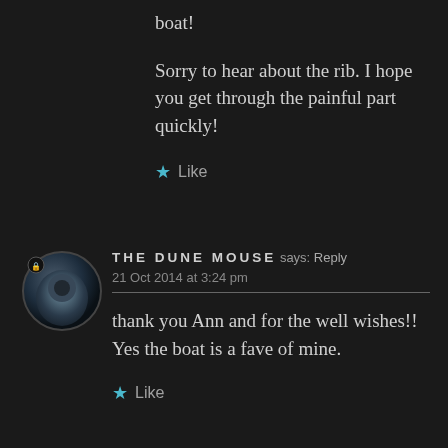boat!
Sorry to hear about the rib. I hope you get through the painful part quickly!
★ Like
THE DUNE MOUSE says: Reply
21 Oct 2014 at 3:24 pm
thank you Ann and for the well wishes!! Yes the boat is a fave of mine.
★ Like